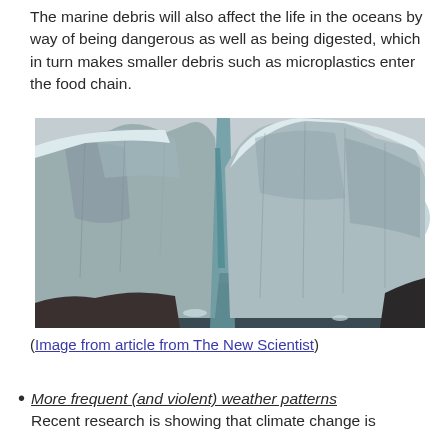The marine debris will also affect the life in the oceans by way of being dangerous as well as being digested, which in turn makes smaller debris such as microplastics enter the food chain.
[Figure (photo): Photograph of large icebergs with jagged blue-white ice surfaces breaking apart over dark ocean water, with grey cloudy sky in the background.]
(Image from article from The New Scientist)
More frequent (and violent) weather patterns
Recent research is showing that climate change is